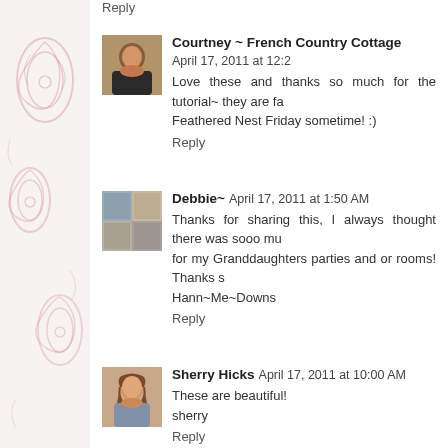Reply
[Figure (photo): Avatar photo of Courtney - woman with dark hair]
Courtney ~ French Country Cottage  April 17, 2011 at 12:2...
Love these and thanks so much for the tutorial~ they are fa... Feathered Nest Friday sometime! :)
Reply
[Figure (photo): Avatar photo of Debbie - bedroom/home decor image]
Debbie~  April 17, 2011 at 1:50 AM
Thanks for sharing this, I always thought there was sooo mu... for my Granddaughters parties and or rooms! Thanks s... Hann~Me~Downs
Reply
[Figure (photo): Avatar photo of Sherry Hicks - woman with curly hair]
Sherry Hicks  April 17, 2011 at 10:00 AM
These are beautiful!
sherry
Reply
Kelsey  April 17, 2011 at 4:34 PM